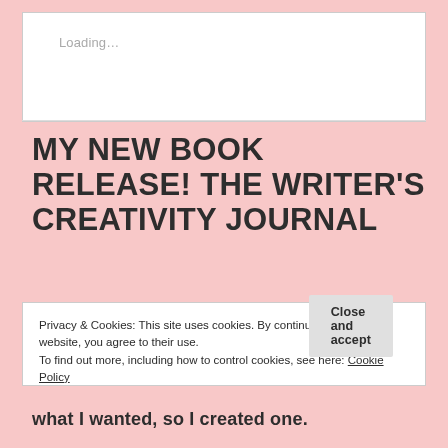Loading…
MY NEW BOOK RELEASE! THE WRITER'S CREATIVITY JOURNAL
Privacy & Cookies: This site uses cookies. By continuing to use this website, you agree to their use.
To find out more, including how to control cookies, see here: Cookie Policy
Close and accept
what I wanted, so I created one.